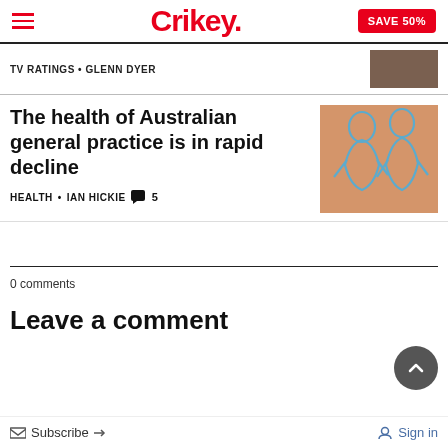Crikey. SAVE 50%
TV RATINGS • GLENN DYER
The health of Australian general practice is in rapid decline
HEALTH • IAN HICKIE 💬 5
[Figure (illustration): Illustration of two blue figures against orange/tan background]
0 comments
Leave a comment
Subscribe   Sign in